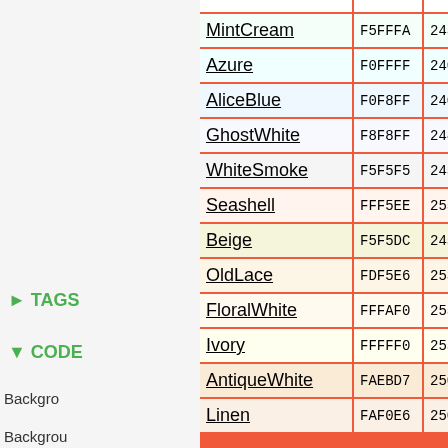| Color Name | Hex | RGB |
| --- | --- | --- |
| MintCream | F5FFFA | 245255250 |
| Azure | F0FFFF | 240255255 |
| AliceBlue | F0F8FF | 240248255 |
| GhostWhite | F8F8FF | 248248255 |
| WhiteSmoke | F5F5F5 | 245245245 |
| Seashell | FFF5EE | 255245238 |
| Beige | F5F5DC | 245245220 |
| OldLace | FDF5E6 | 253245230 |
| FloralWhite | FFFAF0 | 255250240 |
| Ivory | FFFFF0 | 255255240 |
| AntiqueWhite | FAEBD7 | 250235215 |
| Linen | FAF0E6 | 250240230 |
► TAGS
▼ CODE
Background
Backgrou
Code
Backgrou
Color
Backgrou